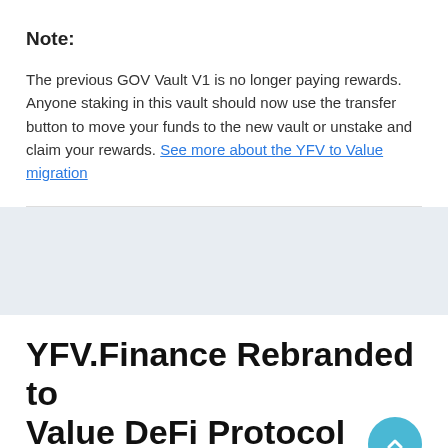Note:
The previous GOV Vault V1 is no longer paying rewards. Anyone staking in this vault should now use the transfer button to move your funds to the new vault or unstake and claim your rewards. See more about the YFV to Value migration
YFV.Finance Rebranded to Value DeFi Protocol